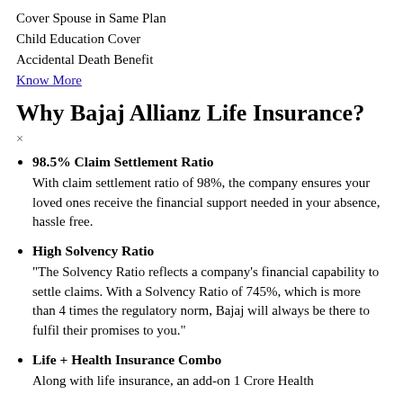Cover Spouse in Same Plan
Child Education Cover
Accidental Death Benefit
Know More
Why Bajaj Allianz Life Insurance?
×
98.5% Claim Settlement Ratio
With claim settlement ratio of 98%, the company ensures your loved ones receive the financial support needed in your absence, hassle free.
High Solvency Ratio
“The Solvency Ratio reflects a company’s financial capability to settle claims. With a Solvency Ratio of 745%, which is more than 4 times the regulatory norm, Bajaj will always be there to fulfil their promises to you.”
Life + Health Insurance Combo
Along with life insurance, an add-on 1 Crore Health